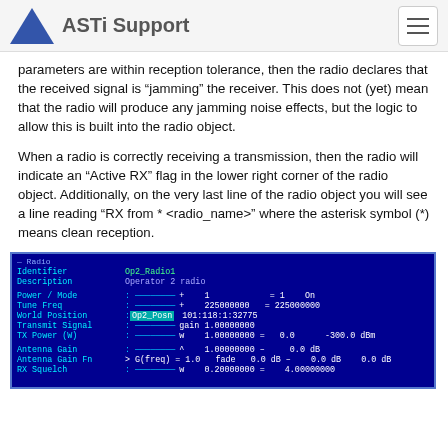ASTi Support
parameters are within reception tolerance, then the radio declares that the received signal is “jamming” the receiver. This does not (yet) mean that the radio will produce any jamming noise effects, but the logic to allow this is built into the radio object.
When a radio is correctly receiving a transmission, then the radio will indicate an “Active RX” flag in the lower right corner of the radio object. Additionally, on the very last line of the radio object you will see a line reading “RX from * <radio_name>” where the asterisk symbol (*) means clean reception.
[Figure (screenshot): Terminal/console screenshot showing a Radio object display with fields: Identifier (Op2_Radio1), Description (Operator 2 radio), Power/Mode, Tune Freq, World Position (Op2_Posn highlighted), Transmit Signal, TX Power (W), Antenna Gain, Antenna Gain Fn, RX Squelch with various numeric values.]